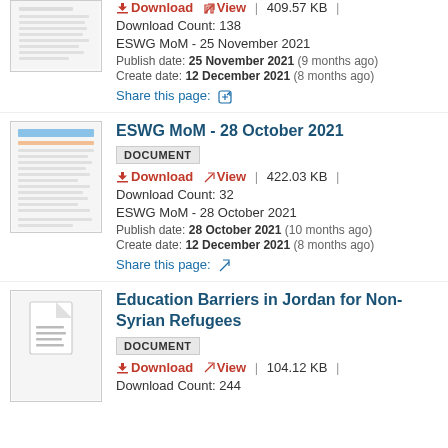[Figure (screenshot): Thumbnail of document]
Download | View | 409.57 KB |
Download Count: 138
ESWG MoM - 25 November 2021
Publish date: 25 November 2021 (9 months ago)
Create date: 12 December 2021 (8 months ago)
Share this page:
ESWG MoM - 28 October 2021
DOCUMENT
Download | View | 422.03 KB |
Download Count: 32
ESWG MoM - 28 October 2021
Publish date: 28 October 2021 (10 months ago)
Create date: 12 December 2021 (8 months ago)
Share this page:
Education Barriers in Jordan for Non-Syrian Refugees
DOCUMENT
Download | View | 104.12 KB |
Download Count: 244